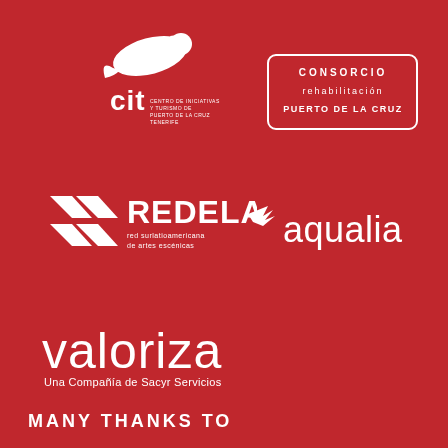[Figure (logo): CIT - Centro de Iniciativas y Turismo de Puerto de la Cruz logo, white on red background, with a dove/leaf graphic and 'cit' text]
[Figure (logo): Consorcio rehabilitacion PUERTO DE LA CRUZ logo, white text in rounded rectangle border]
[Figure (logo): REDELAE red surlatioamericana de artes escenicas logo, white on red background with arrow/chevron graphic]
[Figure (logo): aqualia logo, white on red background with fish graphic]
[Figure (logo): valoriza - Una Compañia de Sacyr Servicios logo, white on red background]
MANY THANKS TO